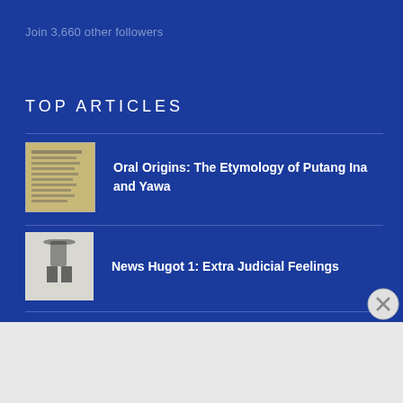Join 3,660 other followers
TOP ARTICLES
Oral Origins: The Etymology of Putang Ina and Yawa
News Hugot 1: Extra Judicial Feelings
Advertisements
[Figure (other): Advertisement banner: Turn your blog into a money-making online course.]